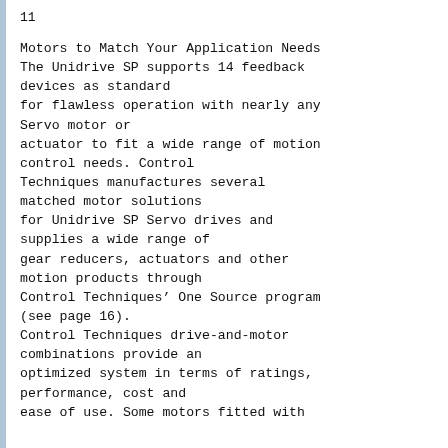11
Motors to Match Your Application Needs
The Unidrive SP supports 14 feedback
devices as standard
for flawless operation with nearly any
Servo motor or
actuator to fit a wide range of motion
control needs. Control
Techniques manufactures several
matched motor solutions
for Unidrive SP Servo drives and
supplies a wide range of
gear reducers, actuators and other
motion products through
Control Techniques’ One Source program
(see page 16).
Control Techniques drive-and-motor
combinations provide an
optimized system in terms of ratings,
performance, cost and
ease of use. Some motors fitted with